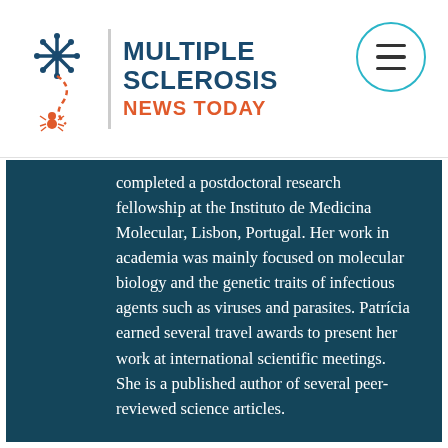MULTIPLE SCLEROSIS NEWS TODAY
completed a postdoctoral research fellowship at the Instituto de Medicina Molecular, Lisbon, Portugal. Her work in academia was mainly focused on molecular biology and the genetic traits of infectious agents such as viruses and parasites. Patrícia earned several travel awards to present her work at international scientific meetings. She is a published author of several peer-reviewed science articles.